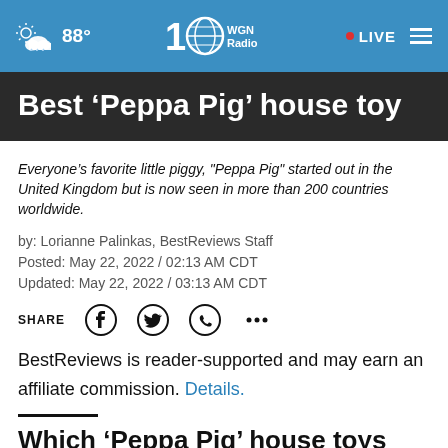WGN Radio 100 — 88° · LIVE
Best ‘Peppa Pig’ house toy
Everyone’s favorite little piggy, "Peppa Pig" started out in the United Kingdom but is now seen in more than 200 countries worldwide.
by: Lorianne Palinkas, BestReviews Staff
Posted: May 22, 2022 / 02:13 AM CDT
Updated: May 22, 2022 / 03:13 AM CDT
SHARE
BestReviews is reader-supported and may earn an affiliate commission. Details.
Which ‘Peppa Pig’ house toys are